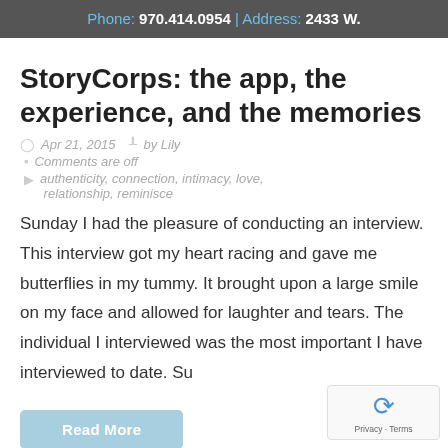Phone: 970.414.0954 | Address: 2433 W.
StoryCorps: the app, the experience, and the memories
Apr 21, 2015   by Lily
Comments are off
authenticity, connection, intimacy, love, relationship, reminisce
Sunday I had the pleasure of conducting an interview. This interview got my heart racing and gave me butterflies in my tummy. It brought upon a large smile on my face and allowed for laughter and tears. The individual I interviewed was the most important I have interviewed to date. Su
Read More